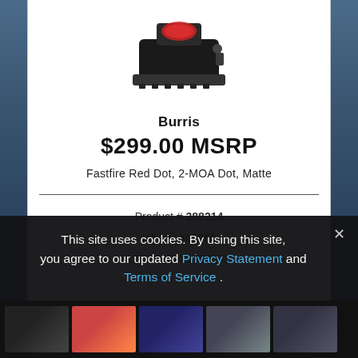[Figure (photo): Burris Fastfire red dot sight mounted on a rail, viewed from above-left angle, black matte finish with red reticle window]
Burris
$299.00 MSRP
Fastfire Red Dot, 2-MOA Dot, Matte
Product # 388214
MFG # 300260
UPC 000381302601
This site uses cookies. By using this site, you agree to our updated Privacy Statement and Terms of Service .